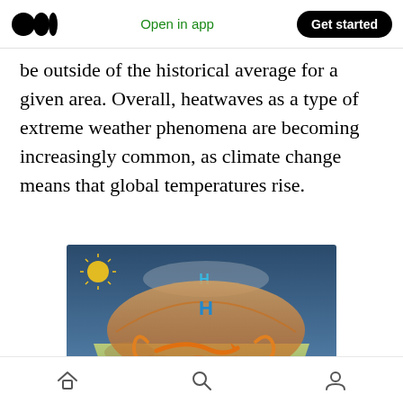Medium logo | Open in app | Get started
be outside of the historical average for a given area. Overall, heatwaves as a type of extreme weather phenomena are becoming increasingly common, as climate change means that global temperatures rise.
[Figure (illustration): 3D diagram showing a heat dome over a map of the United States. A dome-shaped orange/brown bubble of trapped hot air sits over the central US, with orange swirling arrows indicating circulating hot air beneath the dome. A blue 'H' symbol marks the high pressure center above the dome in the sky, while a sun is visible in the upper left corner. The sky background is dark blue-grey.]
Home | Search | Profile navigation icons